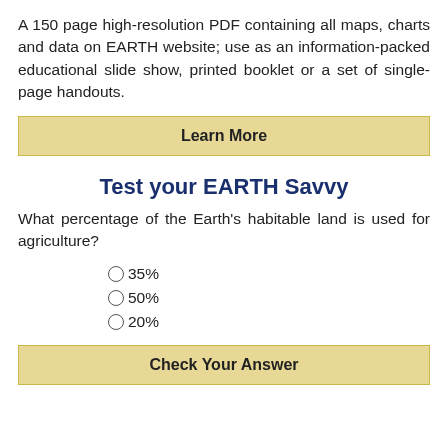A 150 page high-resolution PDF containing all maps, charts and data on EARTH website; use as an information-packed educational slide show, printed booklet or a set of single-page handouts.
[Figure (other): Learn More button — golden/tan colored rectangular button with bold text 'Learn More']
Test your EARTH Savvy
What percentage of the Earth's habitable land is used for agriculture?
35%
50%
20%
[Figure (other): Check Your Answer button — golden/tan colored rectangular button with bold text 'Check Your Answer']